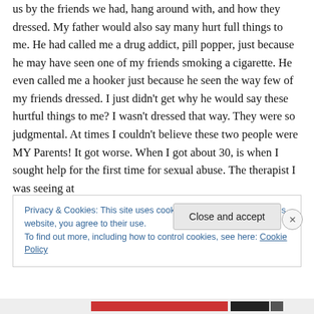us by the friends we had, hang around with, and how they dressed. My father would also say many hurt full things to me. He had called me a drug addict, pill popper, just because he may have seen one of my friends smoking a cigarette. He even called me a hooker just because he seen the way few of my friends dressed. I just didn't get why he would say these hurtful things to me? I wasn't dressed that way. They were so judgmental. At times I couldn't believe these two people were MY Parents! It got worse. When I got about 30, is when I sought help for the first time for sexual abuse. The therapist I was seeing at
Privacy & Cookies: This site uses cookies. By continuing to use this website, you agree to their use.
To find out more, including how to control cookies, see here: Cookie Policy